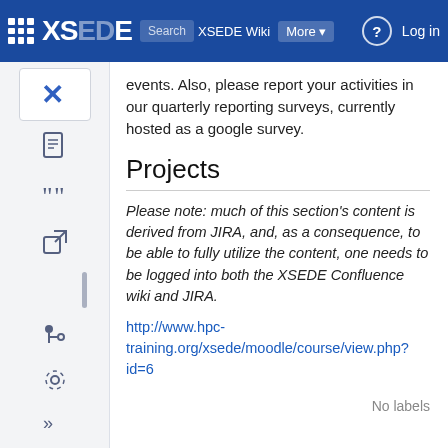XSEDE Wiki | Search | More | Log in
events. Also, please report your activities in our quarterly reporting surveys, currently hosted as a google survey.
Projects
Please note: much of this section's content is derived from JIRA, and, as a consequence, to be able to fully utilize the content, one needs to be logged into both the XSEDE Confluence wiki and JIRA.
http://www.hpc-training.org/xsede/moodle/course/view.php?id=6
No labels